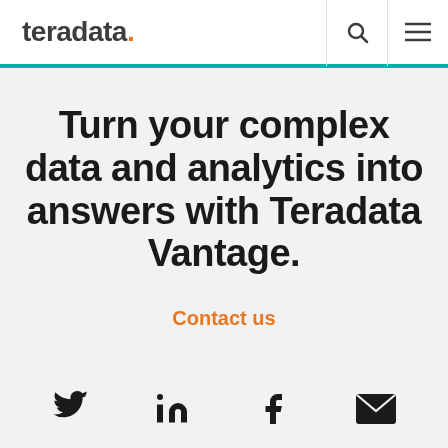teradata.
Turn your complex data and analytics into answers with Teradata Vantage.
Contact us
[Figure (illustration): Social media icons row: Twitter bird, LinkedIn 'in', Facebook 'f', and email envelope icons]